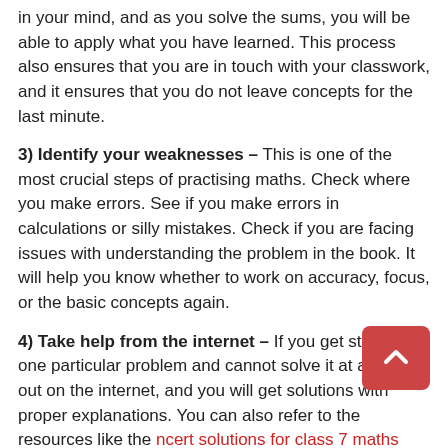in your mind, and as you solve the sums, you will be able to apply what you have learned. This process also ensures that you are in touch with your classwork, and it ensures that you do not leave concepts for the last minute.
3) Identify your weaknesses – This is one of the most crucial steps of practising maths. Check where you make errors. See if you make errors in calculations or silly mistakes. Check if you are facing issues with understanding the problem in the book. It will help you know whether to work on accuracy, focus, or the basic concepts again.
4) Take help from the internet – If you get stuck with one particular problem and cannot solve it at all, put it out on the internet, and you will get solutions with proper explanations. You can also refer to the resources like the ncert solutions for class 7 maths present on the internet. Experts explain all of the problems in detail for better understanding of the students.